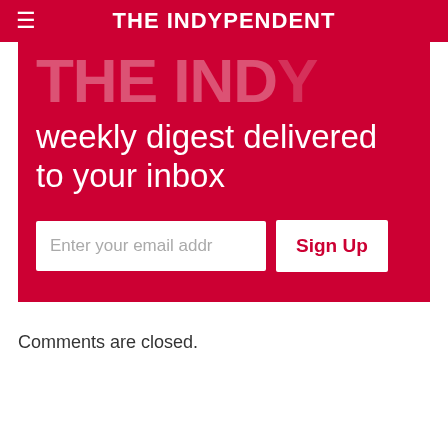THE INDYPENDENT
[Figure (screenshot): Red banner newsletter signup section with partially visible large text 'THE INDY', subtitle 'weekly digest delivered to your inbox', an email input field, and a Sign Up button]
Comments are closed.